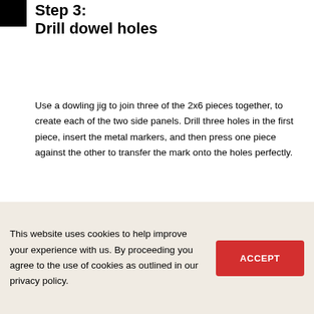Step 3:
Drill dowel holes
Use a dowling jig to join three of the 2x6 pieces together, to create each of the two side panels. Drill three holes in the first piece, insert the metal markers, and then press one piece against the other to transfer the mark onto the holes perfectly.
[Figure (photo): A person in a dark long-sleeve shirt working with wooden pieces on a workbench. Visible items include a drill, a bottle of glue, and wooden boards. The person is pressing pieces together.]
This website uses cookies to help improve your experience with us. By proceeding you agree to the use of cookies as outlined in our privacy policy.